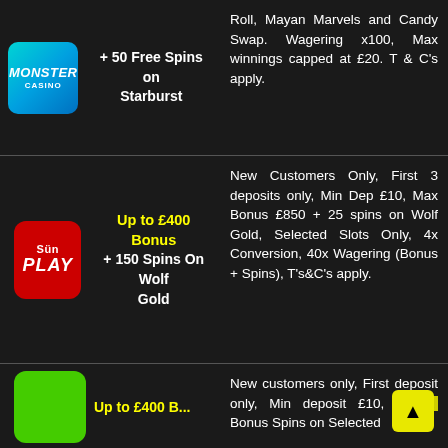+ 50 Free Spins on Starburst
Roll, Mayan Marvels and Candy Swap. Wagering x100, Max winnings capped at £20. T & C's apply.
Up to £400 Bonus + 150 Spins On Wolf Gold
New Customers Only, First 3 deposits only, Min Dep £10, Max Bonus £850 + 25 spins on Wolf Gold, Selected Slots Only, 4x Conversion, 40x Wagering (Bonus + Spins), T's&C's apply.
New customers only, First deposit only, Min deposit £10, Ma... Bonus Spins on Selected